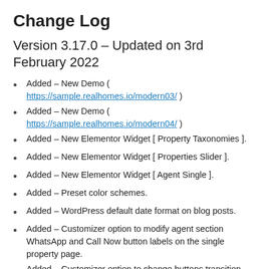Change Log
Version 3.17.0 – Updated on 3rd February 2022
Added – New Demo ( https://sample.realhomes.io/modern03/ )
Added – New Demo ( https://sample.realhomes.io/modern04/ )
Added – New Elementor Widget [ Property Taxonomies ].
Added – New Elementor Widget [ Properties Slider ].
Added – New Elementor Widget [ Agent Single ].
Added – Preset color schemes.
Added – WordPress default date format on blog posts.
Added – Customizer option to modify agent section WhatsApp and Call Now button labels on the single property page.
Added – Customizer option to change buttons transition styles.
Added – Property views column in the properties list table.
Improved – Elementor Advanced search widget fields values preservation when searched.
Improved – Properties highlighting feature on hover behavior